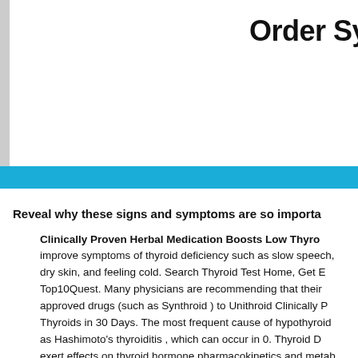Order Sy...
Reveal why these signs and symptoms are so importa...
Clinically Proven Herbal Medication Boosts Low Thyro... improve symptoms of thyroid deficiency such as slow speech, dry skin, and feeling cold. Search Thyroid Test Home, Get E... Top10Quest. Many physicians are recommending that their approved drugs (such as Synthroid ) to Unithroid Clinically P... Thyroids in 30 Days. The most frequent cause of hypothyroid... as Hashimoto's thyroiditis , which can occur in 0. Thyroid D... exert effects on thyroid hormone pharmacokinetics and metab...
Synthroid is a prescription medicine used to treat hu...